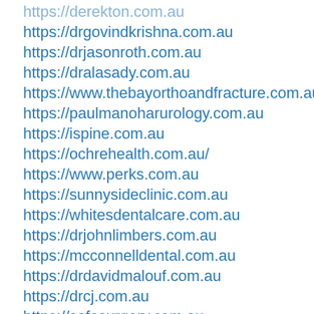https://derekton.com.au
https://drgovindkrishna.com.au
https://drjasonroth.com.au
https://dralasady.com.au
https://www.thebayorthoandfracture.com.au
https://paulmanoharurology.com.au
https://ispine.com.au
https://ochrehealth.com.au/
https://www.perks.com.au
https://sunnysideclinic.com.au
https://whitesdentalcare.com.au
https://drjohnlimbers.com.au
https://mcconnelldental.com.au
https://drdavidmalouf.com.au
https://drcj.com.au
https://safesurgery.com.au
https://drozmen.com.au